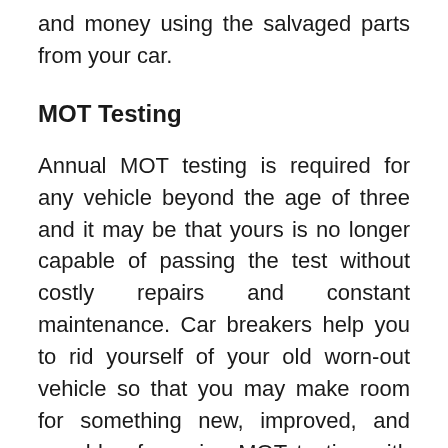and money using the salvaged parts from your car.
MOT Testing
Annual MOT testing is required for any vehicle beyond the age of three and it may be that yours is no longer capable of passing the test without costly repairs and constant maintenance. Car breakers help you to rid yourself of your old worn-out vehicle so that you may make room for something new, improved, and capable of passing MOT testing with ease. Not only will you now need to worry about repairs less often but you may be safer when spending time on the road in your newer car.